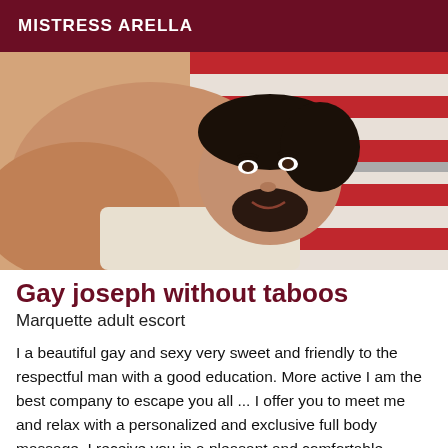MISTRESS ARELLA
[Figure (photo): A man with dark hair and beard lying down, shirtless, against a striped red and white background.]
Gay joseph without taboos
Marquette adult escort
I a beautiful gay and sexy very sweet and friendly to the respectful man with a good education. More active I am the best company to escape you all ... I offer you to meet me and relax with a personalized and exclusive full body massage. I receive you in a pleasant and comfortable apartment very discreet.I do not answer hidden